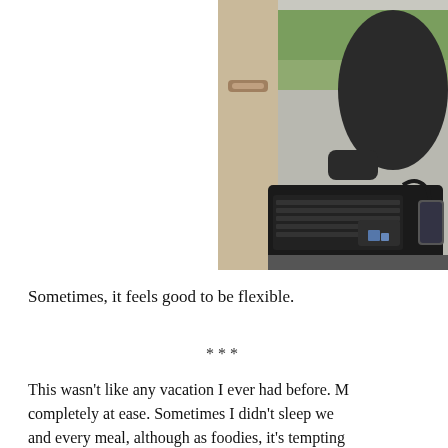[Figure (photo): Person sitting in a car holding a laptop open on their lap, interior shot showing car door, window with greenery outside, dark laptop with keyboard visible]
Sometimes, it feels good to be flexible.
***
This wasn't like any vacation I ever had before. M... completely at ease. Sometimes I didn't sleep we... and every meal, although as foodies, it's tempting... allowed us to remain flexible. And when you're w... raining and you've got another six blocks to go, y...